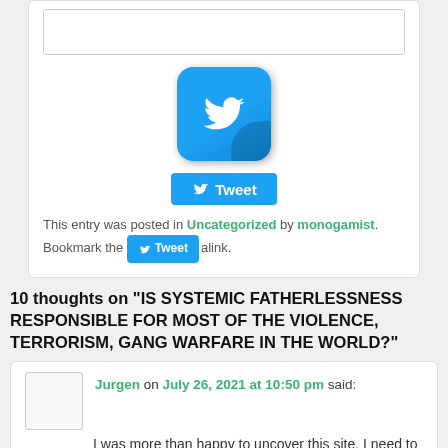[Figure (other): Twitter bird logo icon large square blue button]
[Figure (other): Tweet button small blue with Twitter bird icon]
This entry was posted in Uncategorized by monogamist. Bookmark the permalink.
[Figure (other): Small Tweet button overlay]
10 thoughts on "IS SYSTEMIC FATHERLESSNESS RESPONSIBLE FOR MOST OF THE VIOLENCE, TERRORISM, GANG WARFARE IN THE WORLD?"
Jurgen on July 26, 2021 at 10:50 pm said: I was more than happy to uncover this site. I need to to thank you for your time for this fantastic read!! I definitely really liked every part of it and I have you saved to fav to see new things in your site